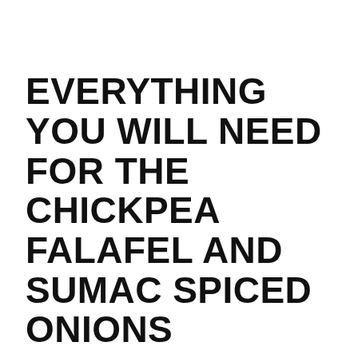EVERYTHING YOU WILL NEED FOR THE CHICKPEA FALAFEL AND SUMAC SPICED ONIONS